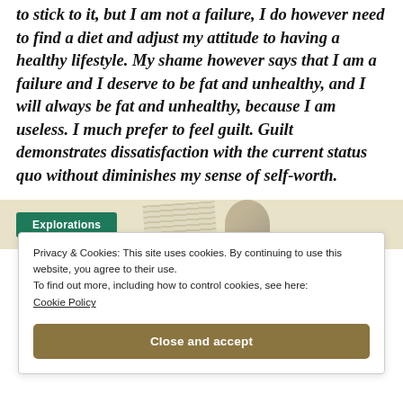to stick to it, but I am not a failure, I do however need to find a diet and adjust my attitude to having a healthy lifestyle. My shame however says that I am a failure and I deserve to be fat and unhealthy, and I will always be fat and unhealthy, because I am useless. I much prefer to feel guilt. Guilt demonstrates dissatisfaction with the current status quo without diminishes my sense of self-worth.
[Figure (screenshot): Partial screenshot of a webpage with a green 'Explorations' button, scattered paper/document image, and a person silhouette cropped at bottom of visible area]
Privacy & Cookies: This site uses cookies. By continuing to use this website, you agree to their use.
To find out more, including how to control cookies, see here:
Cookie Policy
Close and accept